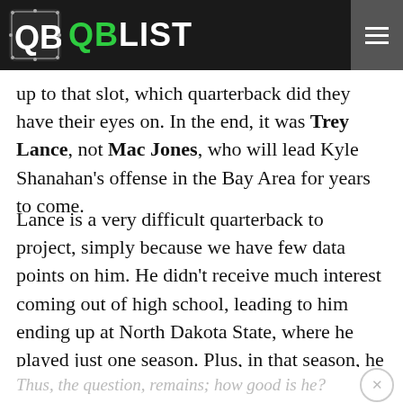QB LIST
up to that slot, which quarterback did they have their eyes on. In the end, it was Trey Lance, not Mac Jones, who will lead Kyle Shanahan's offense in the Bay Area for years to come.
Lance is a very difficult quarterback to project, simply because we have few data points on him. He didn't receive much interest coming out of high school, leading to him ending up at North Dakota State, where he played just one season. Plus, in that season, he was only 19-years-old and averaged under 20 drop backs per game.
Thus, the question, remains; how good is he?